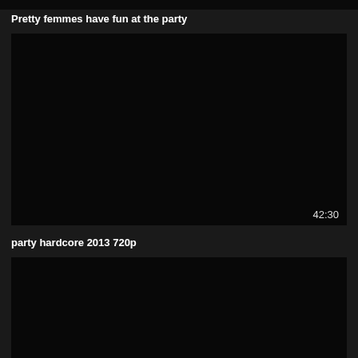[Figure (screenshot): Dark/black video thumbnail strip at top of page]
Pretty femmes have fun at the party
[Figure (screenshot): Dark/black video thumbnail with duration 42:30 shown in bottom right corner]
party hardcore 2013 720p
[Figure (screenshot): Dark/black video thumbnail at bottom of page]